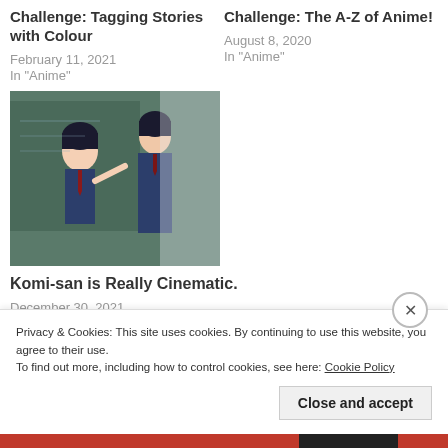Challenge: Tagging Stories with Colour
February 11, 2021
In "Anime"
Challenge: The A-Z of Anime!
August 8, 2020
In "Anime"
[Figure (photo): Anime screenshot showing characters in school uniforms, one pointing at a chalkboard]
Komi-san is Really Cinematic.
December 30, 2021
In "Anime"
Privacy & Cookies: This site uses cookies. By continuing to use this website, you agree to their use.
To find out more, including how to control cookies, see here: Cookie Policy
Close and accept